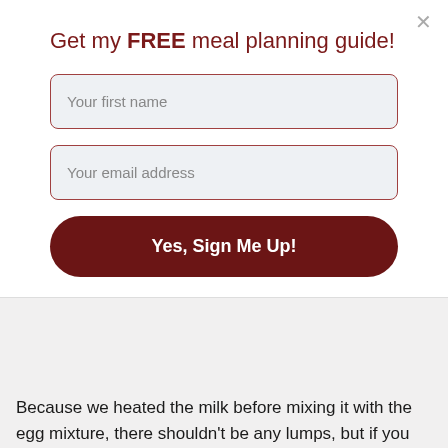Get my FREE meal planning guide!
Your first name
Your email address
Yes, Sign Me Up!
Because we heated the milk before mixing it with the egg mixture, there shouldn't be any lumps, but if you notice them I recommend pouring it through a fine mesh strainer. Nobody wants lumpy pastry cream!